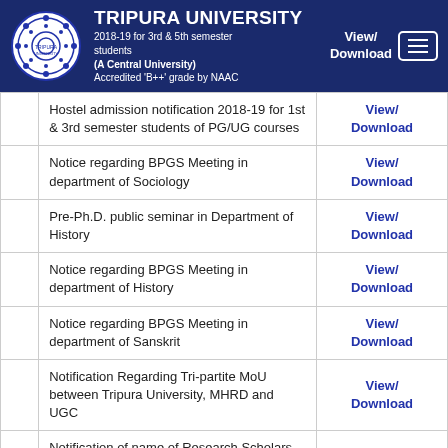TRIPURA UNIVERSITY (A Central University) Accredited 'B++' grade by NAAC
|  | Description | Action |
| --- | --- | --- |
|  | Hostel admission notification 2018-19 for 3rd & 5th semester students | View/Download |
|  | Hostel admission notification 2018-19 for 1st & 3rd semester students of PG/UG courses | View/Download |
|  | Notice regarding BPGS Meeting in department of Sociology | View/Download |
|  | Pre-Ph.D. public seminar in Department of History | View/Download |
|  | Notice regarding BPGS Meeting in department of History | View/Download |
|  | Notice regarding BPGS Meeting in department of Sanskrit | View/Download |
|  | Notification Regarding Tri-partite MoU between Tripura University, MHRD and UGC | View/Download |
|  | Notification of name of Research Scholars admitted in Ph.D. course work 2017 & fellowship for Ph.D. course | View/Download |